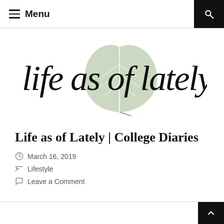Menu
[Figure (logo): Life as of Lately blog logo with cursive script text and a sage green leaf illustration in the center]
Life as of Lately | College Diaries
March 16, 2019
Lifestyle
Leave a Comment